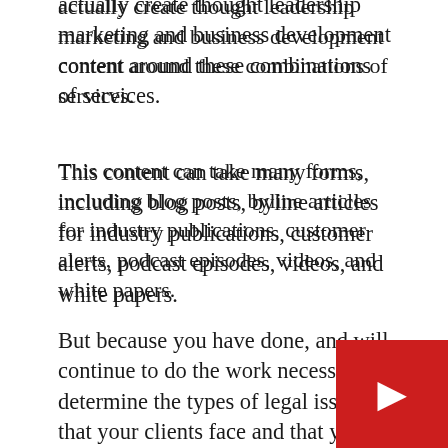actually create thought leadership marketing and business development content around these combinations of services.
This content can take many forms, including blog posts, byline articles for industry publications, customer alerts, podcast episodes, videos, and white papers.
Whatever form this thought leadership content takes, to be effective it needs to show your clients that you and your law firm have a variety of legal practices that TOGETHER can help them solve their legal problems of effective and efficient manner.
But because you have done, and will continue to do the work necessary to determine the types of legal issues that your clients face and that your law firm